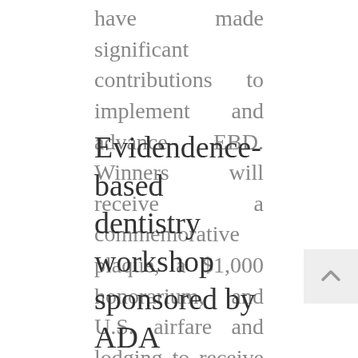have made significant contributions to implement and advance EBD. Winners will receive a commemorative plaque, a $1,000 honorarium, and U.S. airfare and lodging to receive their award at ADA 2018 in Honolulu this fall. Apply or nominate someone until June at ADA.org/EBDawards. Applicants must be a member of either the American Dental Association or the American Association for Dental Research. The EBD Awards are supported
Evidendence-based dentistry workshop sponsored by ADA